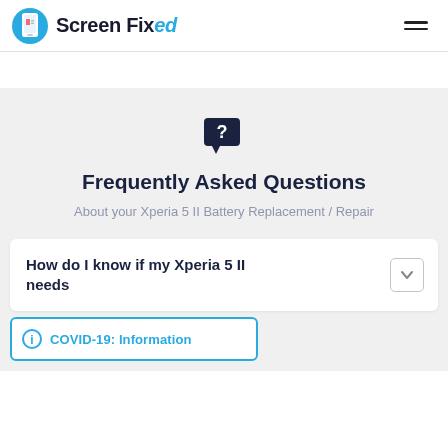Screen Fixed
Frequently Asked Questions
About your Xperia 5 II Battery Replacement / Repair
How do I know if my Xperia 5 II needs
COVID-19: Information